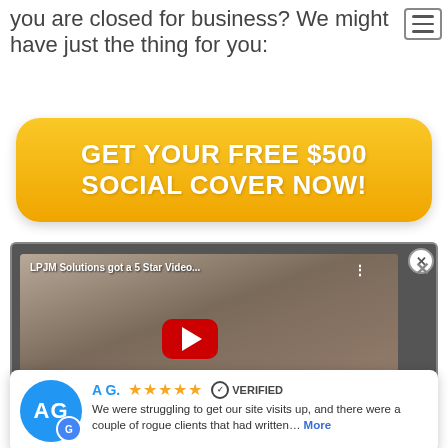you are closed for business? We might have just the thing for you:
[Figure (other): Golden CTA button with text GET YOUR FREE $500 SOCIAL COVER NOW!]
[Figure (screenshot): YouTube video thumbnail showing a woman with text 'LPJM Solutions got a 5 Star Video...' and a red play button]
A G.  ★★★★★  ✓ VERIFIED
We were struggling to get our site visits up, and there were a couple of rogue clients that had written... More